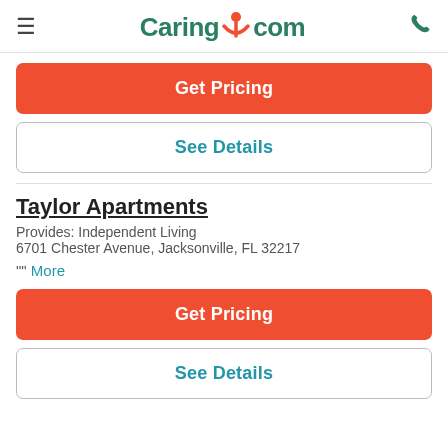Caring.com
Get Pricing
See Details
Taylor Apartments
Provides: Independent Living
6701 Chester Avenue, Jacksonville, FL 32217
"" More
Get Pricing
See Details